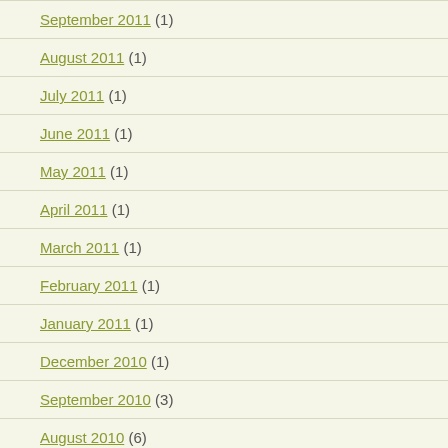September 2011 (1)
August 2011 (1)
July 2011 (1)
June 2011 (1)
May 2011 (1)
April 2011 (1)
March 2011 (1)
February 2011 (1)
January 2011 (1)
December 2010 (1)
September 2010 (3)
August 2010 (6)